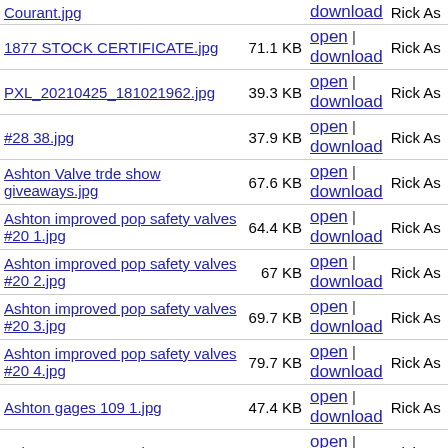| Name | Size | Actions | User |
| --- | --- | --- | --- |
| Courant.jpg |  | open | download | Rick As |
| 1877 STOCK CERTIFICATE.jpg | 71.1 KB | open | download | Rick As |
| PXL_20210425_181021962.jpg | 39.3 KB | open | download | Rick As |
| #28 38.jpg | 37.9 KB | open | download | Rick As |
| Ashton Valve trde show giveaways.jpg | 67.6 KB | open | download | Rick As |
| Ashton improved pop safety valves #20 1.jpg | 64.4 KB | open | download | Rick As |
| Ashton improved pop safety valves #20 2.jpg | 67 KB | open | download | Rick As |
| Ashton improved pop safety valves #20 3.jpg | 69.7 KB | open | download | Rick As |
| Ashton improved pop safety valves #20 4.jpg | 79.7 KB | open | download | Rick As |
| Ashton gages 109 1.jpg | 47.4 KB | open | download | Rick As |
| Ashton gages 109 2.jpg | 55.5 KB | open | download | Rick As |
| Ashton gages 109 3.jpg | 51 KB | open | download | Rick As |
| Ashton master pressure and |  |  |  |